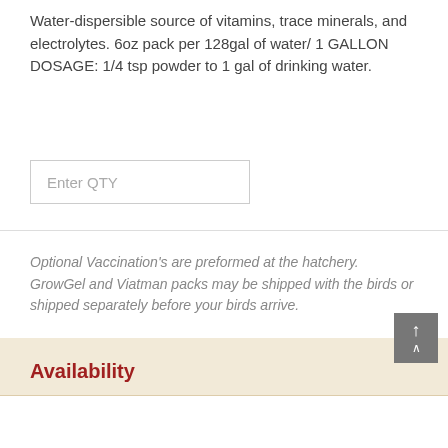Water-dispersible source of vitamins, trace minerals, and electrolytes. 6oz pack per 128gal of water/ 1 GALLON DOSAGE: 1/4 tsp powder to 1 gal of drinking water.
Enter QTY
Optional Vaccination's are preformed at the hatchery. GrowGel and Viatman packs may be shipped with the birds or shipped separately before your birds arrive.
Add to Cart
Availability